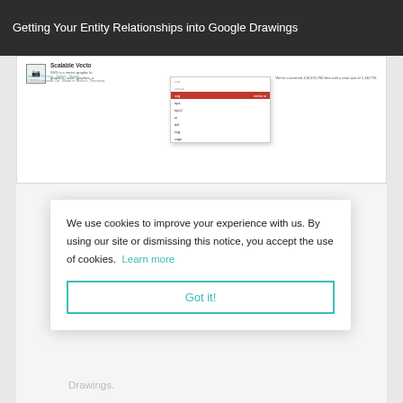Getting Your Entity Relationships into Google Drawings
[Figure (screenshot): Screenshot of a file conversion website (cloudconvert or similar) showing a dropdown menu with file format options including svg, eps, eps2, ai, dxf, svg, svgz. The active/highlighted item appears to be 'vector' in red. The page shows 'Scalable Vector...' content and a footer with statistics about converted files.]
We use cookies to improve your experience with us. By using our site or dismissing this notice, you accept the use of cookies.  Learn more
Got it!
lly saved in
e original
ou can
gle
Drawings.